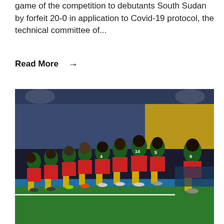game of the competition to debutants South Sudan by forfeit 20-0 in application to Covid-19 protocol, the technical committee of...
Read More →
[Figure (photo): A group of Cameroon national football team players in green jerseys and red shorts celebrating on a football pitch at night, with stadium lights and spectators visible in the background.]